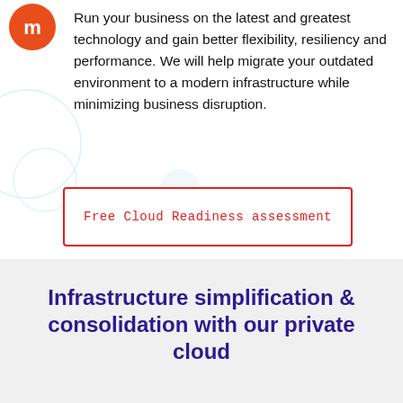[Figure (logo): Orange circular logo with white letter M]
Run your business on the latest and greatest technology and gain better flexibility, resiliency and performance. We will help migrate your outdated environment to a modern infrastructure while minimizing business disruption.
Free Cloud Readiness assessment
Infrastructure simplification & consolidation with our private cloud